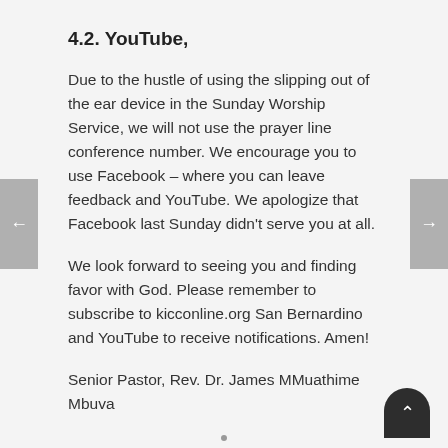4.2. YouTube,
Due to the hustle of using the slipping out of the ear device in the Sunday Worship Service, we will not use the prayer line conference number. We encourage you to use Facebook – where you can leave feedback and YouTube. We apologize that Facebook last Sunday didn't serve you at all.
We look forward to seeing you and finding favor with God. Please remember to subscribe to kicconline.org San Bernardino and YouTube to receive notifications. Amen!
Senior Pastor, Rev. Dr. James MMuathime Mbuva